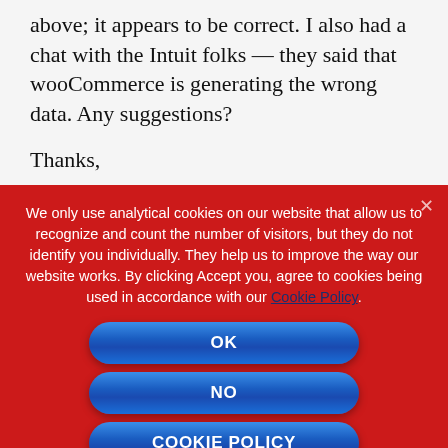above; it appears to be correct. I also had a chat with the Intuit folks — they said that wooCommerce is generating the wrong data. Any suggestions?
Thanks,
We only use analytical cookies on our website that allow us to recognize and count the number of visitors, but they do not identify you individually. They help us to improve the way our website works. By clicking Accept you, agree to cookies being used in accordance with our Cookie Policy.
OK
NO
COOKIE POLICY